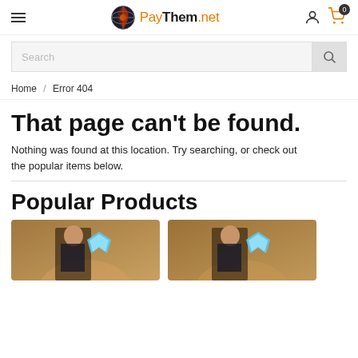PayThem.net — navigation header with hamburger menu, logo, account icon, and cart icon
Search
Home / Error 404
That page can't be found.
Nothing was found at this location. Try searching, or check out the popular items below.
Popular Products
[Figure (photo): Product thumbnail showing a male character with long hair and a blue diamond gem icon]
[Figure (photo): Product thumbnail showing a male character with long hair and a blue diamond gem icon]